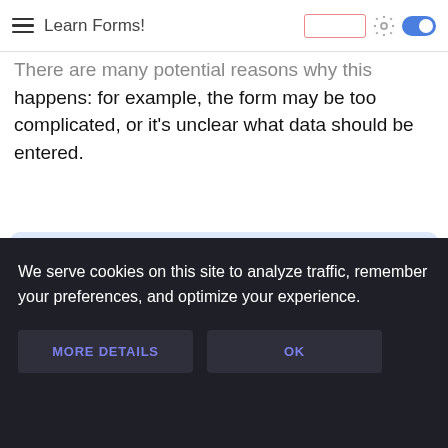Learn Forms!
There are many potential reasons why this happens: for example, the form may be too complicated, or it's unclear what data should be entered.
Always respect the privacy of your
We serve cookies on this site to analyze traffic, remember your preferences, and optimize your experience.
MORE DETAILS
OK